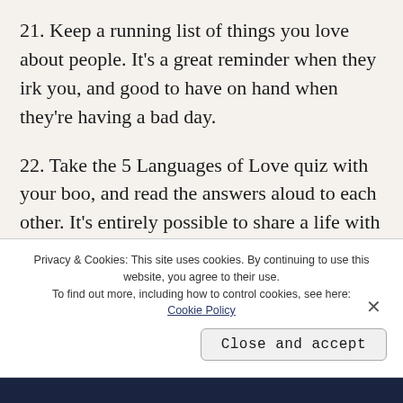21. Keep a running list of things you love about people. It's a great reminder when they irk you, and good to have on hand when they're having a bad day.
22. Take the 5 Languages of Love quiz with your boo, and read the answers aloud to each other. It's entirely possible to share a life with someone for two decades and not really know how they want to be loved.
Privacy & Cookies: This site uses cookies. By continuing to use this website, you agree to their use. To find out more, including how to control cookies, see here: Cookie Policy
Close and accept